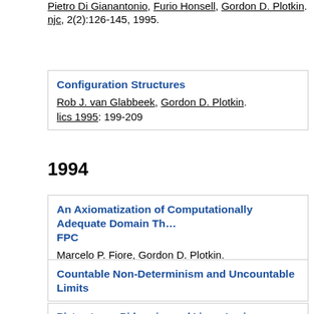Pietro Di Gianantonio, Furio Honsell, Gordon D. Plotkin. njc, 2(2):126-145, 1995.
Configuration Structures. Rob J. van Glabbeek, Gordon D. Plotkin. lics 1995: 199-209
1994
An Axiomatization of Computationally Adequate Domain Th... FPC. Marcelo P. Fiore, Gordon D. Plotkin. lics 1994: 92-102
Countable Non-Determinism and Uncountable Limits. Pietro Di Gianantonio, Furio Honsell, Silvia Liani, Gordon D. Plo... concur 1994: 130-145
Bistructures, Bidomains and Linear Logic